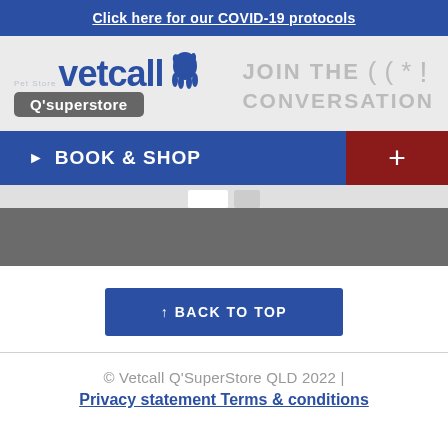Click here for our COVID-19 protocols
[Figure (logo): Vetcall Q'superstore logo with dog silhouette icon, grey background pill shape for Q'superstore text]
JOIN THE CONVERSATION
BOOK & SHOP
↑ BACK TO TOP
© Vetcall Q'SuperStore QLD 2022 |
Privacy statement Terms & conditions